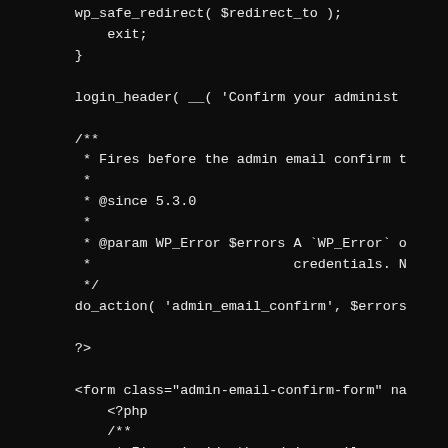wp_safe_redirect( $redirect_to );
            exit;
        }

        login_header( __( 'Confirm your administ

        /**
         * Fires before the admin email confirm t
         *
         * @since 5.3.0
         *
         * @param WP_Error $errors A `WP_Error` o
         *                         credentials. N
         */
        do_action( 'admin_email_confirm', $errors

        ?>

        <form class="admin-email-confirm-form" na
            <?php
            /**
             * Fires inside the admin-email-c
             *
             * @since 5.3.0
             */
            do_action( 'admin_email_confirm_f

            wp_nonce_field( 'confirm_admin_em

            ?>
            <input type="hidden" name="redire